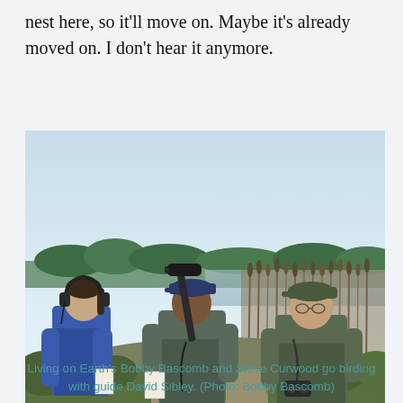nest here, so it'll move on. Maybe it's already moved on. I don't hear it anymore.
[Figure (photo): Three people standing on a path near a wetland/marsh area with tall reeds and a lake in the background. A woman in a blue hoodie with headphones, a man in the center holding a microphone/boom, and another man in a green jacket and cap on the right.]
Living on Earth's Bobby Bascomb and Steve Curwood go birding with guide David Sibley. (Photo: Bobby Bascomb)